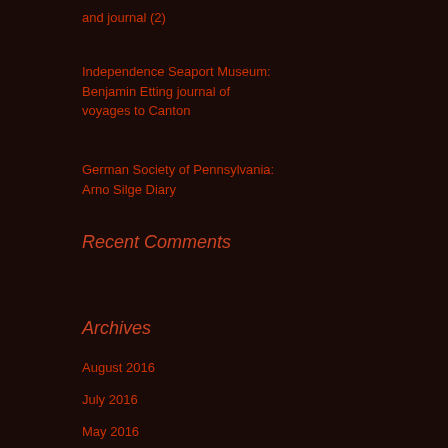and journal (2)
Independence Seaport Museum: Benjamin Etting journal of voyages to Canton
German Society of Pennsylvania: Arno Silge Diary
Recent Comments
Archives
August 2016
July 2016
May 2016